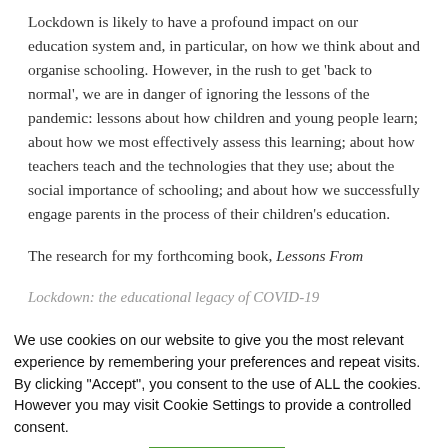Lockdown is likely to have a profound impact on our education system and, in particular, on how we think about and organise schooling. However, in the rush to get 'back to normal', we are in danger of ignoring the lessons of the pandemic: lessons about how children and young people learn; about how we most effectively assess this learning; about how teachers teach and the technologies that they use; about the social importance of schooling; and about how we successfully engage parents in the process of their children's education.
The research for my forthcoming book, Lessons From Lockdown: the educational legacy of COVID-19
We use cookies on our website to give you the most relevant experience by remembering your preferences and repeat visits. By clicking "Accept", you consent to the use of ALL the cookies. However you may visit Cookie Settings to provide a controlled consent.
Cookie settings | ACCEPT